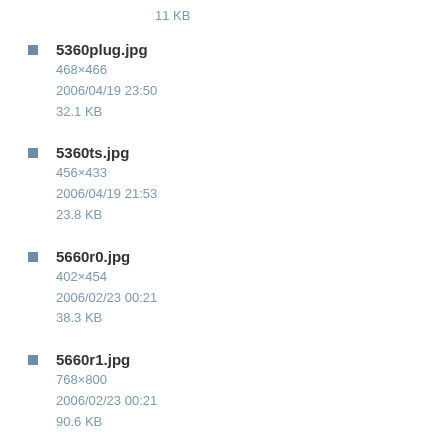11 KB
5360plug.jpg
468×466
2006/04/19 23:50
32.1 KB
5360ts.jpg
456×433
2006/04/19 21:53
23.8 KB
5660r0.jpg
402×454
2006/02/23 00:21
38.3 KB
5660r1.jpg
768×800
2006/02/23 00:21
90.6 KB